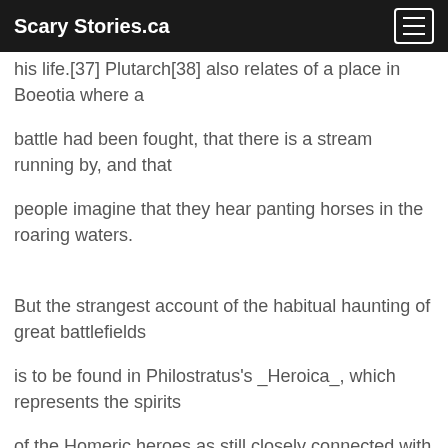Scary Stories.ca
his life.[37] Plutarch[38] also relates of a place in Boeotia where a
battle had been fought, that there is a stream running by, and that
people imagine that they hear panting horses in the roaring waters.
But the strangest account of the habitual haunting of great battlefields
is to be found in Philostratus's _Heroica_, which represents the spirits
of the Homeric heroes as still closely connected with Troy